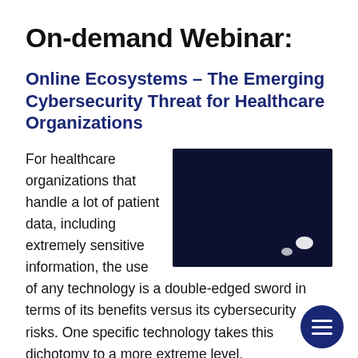On-demand Webinar:
Online Ecosystems – The Emerging Cybersecurity Threat for Healthcare Organizations
For healthcare organizations that handle a lot of patient data, including extremely sensitive information, the use of any technology is a double-edged sword in terms of its benefits versus its cybersecurity risks. One specific technology takes this dichotomy to a more extreme level.
[Figure (photo): Dark navy/black rectangular image, likely a screenshot or presentation slide thumbnail, with a small white oval shape in the lower right area]
Including something as simple or seemingly innocuous as a font, a user tracking script, or utilizing a third-party